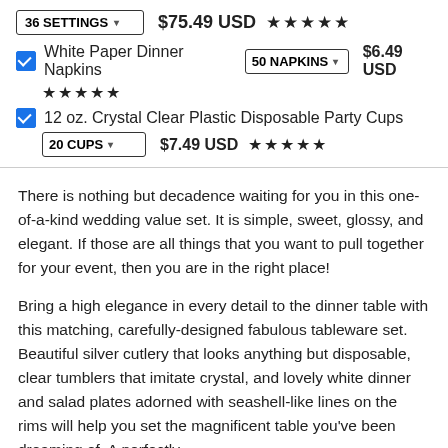36 SETTINGS  $75.49 USD ★★★★★
✓ White Paper Dinner Napkins  50 NAPKINS  $6.49 USD ★★★★★
✓ 12 oz. Crystal Clear Plastic Disposable Party Cups  20 CUPS  $7.49 USD ★★★★★
There is nothing but decadence waiting for you in this one-of-a-kind wedding value set. It is simple, sweet, glossy, and elegant. If those are all things that you want to pull together for your event, then you are in the right place!
Bring a high elegance in every detail to the dinner table with this matching, carefully-designed fabulous tableware set. Beautiful silver cutlery that looks anything but disposable, clear tumblers that imitate crystal, and lovely white dinner and salad plates adorned with seashell-like lines on the rims will help you set the magnificent table you've been dreaming of. A perfectly